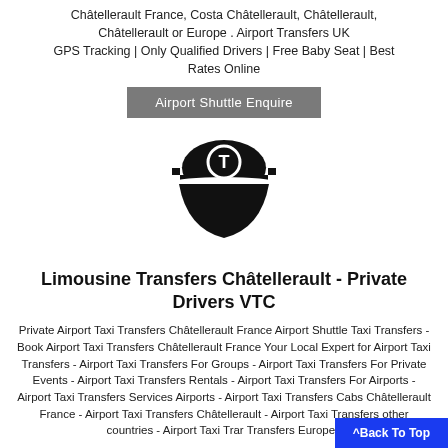Châtellerault France, Costa Châtellerault, Châtellerault, Châtellerault or Europe . Airport Transfers UK GPS Tracking | Only Qualified Drivers | Free Baby Seat | Best Rates Online
[Figure (logo): Black taxi driver cap icon with checkered band and letter T in circle]
Limousine Transfers Châtellerault - Private Drivers VTC
Private Airport Taxi Transfers Châtellerault France Airport Shuttle Taxi Transfers - Book Airport Taxi Transfers Châtellerault France Your Local Expert for Airport Taxi Transfers - Airport Taxi Transfers For Groups - Airport Taxi Transfers For Private Events - Airport Taxi Transfers Rentals - Airport Taxi Transfers For Airports -Airport Taxi Transfers Services Airports - Airport Taxi Transfers Cabs Châtellerault France - Airport Taxi Transfers Châtellerault - Airport Taxi Transfers other countries - Airport Taxi Transfers Europe .
^Back To Top